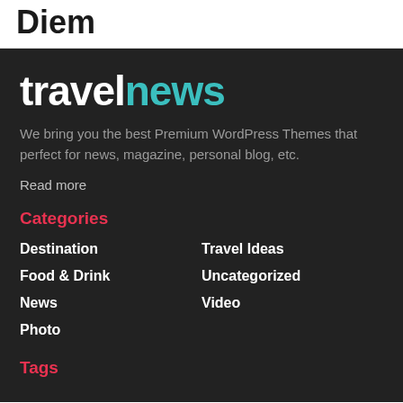Diem
travelnews
We bring you the best Premium WordPress Themes that perfect for news, magazine, personal blog, etc.
Read more
Categories
Destination
Travel Ideas
Food & Drink
Uncategorized
News
Video
Photo
Tags